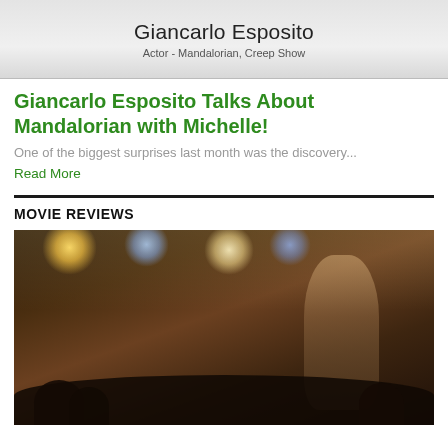[Figure (photo): Header image showing Giancarlo Esposito with name and subtitle 'Actor - Mandalorian, Creep Show' on gray background]
Giancarlo Esposito Talks About Mandalorian with Michelle!
One of the biggest surprises last month was the discovery...
Read More
MOVIE REVIEWS
[Figure (photo): Concert scene photo showing a performer on stage holding a microphone, backlit by stage lights including warm yellow and blue spotlights, crowd silhouettes visible in foreground]